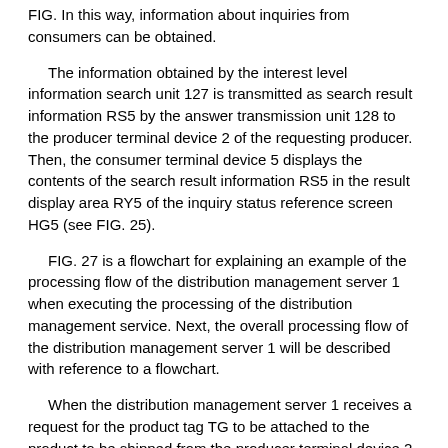FIG. In this way, information about inquiries from consumers can be obtained.
The information obtained by the interest level information search unit 127 is transmitted as search result information RS5 by the answer transmission unit 128 to the producer terminal device 2 of the requesting producer. Then, the consumer terminal device 5 displays the contents of the search result information RS5 in the result display area RY5 of the inquiry status reference screen HG5 (see FIG. 25).
FIG. 27 is a flowchart for explaining an example of the processing flow of the distribution management server 1 when executing the processing of the distribution management service. Next, the overall processing flow of the distribution management server 1 will be described with reference to a flowchart.
When the distribution management server 1 receives a request for the product tag TG to be attached to the product to be shipped from the producer terminal device 2 (Yes in # 1), the distribution management server 1 performs the current processing by the order issuing unit